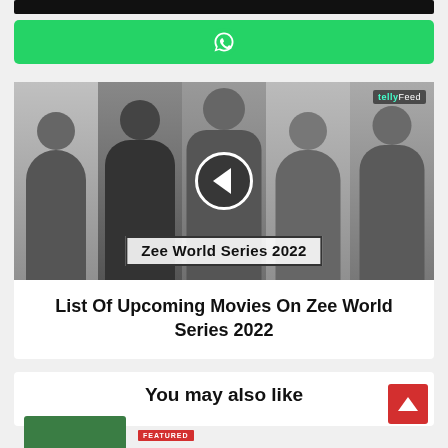[Figure (screenshot): Black navigation bar at top of webpage]
[Figure (screenshot): Green WhatsApp share button with WhatsApp icon]
[Figure (photo): Black and white collage of Indian TV show actors with 'Zee World Series 2022' banner overlay and a left-chevron circle button in center. LellyFeed watermark top right.]
List Of Upcoming Movies On Zee World Series 2022
You may also like
[Figure (photo): Small green thumbnail image at bottom left]
FEATURED